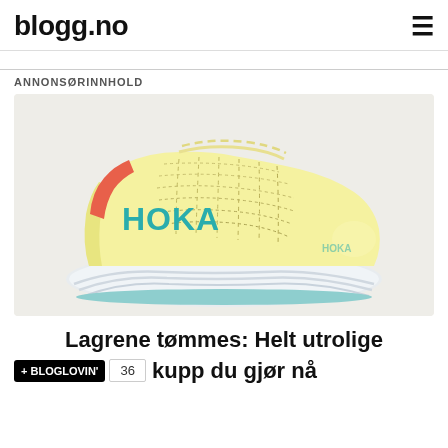blogg.no
ANNONSØRINNHOLD
[Figure (photo): A yellow HOKA running shoe with teal/turquoise HOKA branding on the side, coral/orange accent at the heel, and a thick white midsole, displayed on a light grey background.]
Lagrene tømmes: Helt utrolige kupp du gjør nå